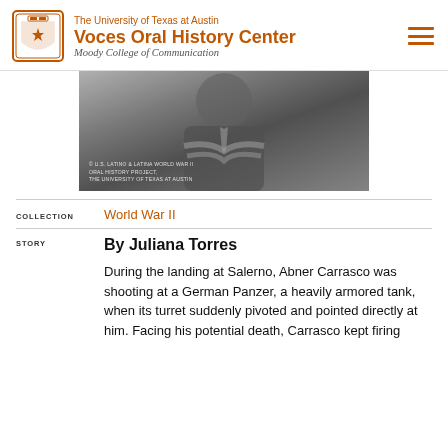The University of Texas at Austin Voces Oral History Center Moody College of Communication
[Figure (photo): Black and white photograph of a person with arms crossed, with text overlay: © U.S. Latino & Latina World War II Oral History Project, The University of Texas at Austin]
COLLECTION   World War II
By Juliana Torres
During the landing at Salerno, Abner Carrasco was shooting at a German Panzer, a heavily armored tank, when its turret suddenly pivoted and pointed directly at him. Facing his potential death, Carrasco kept firing